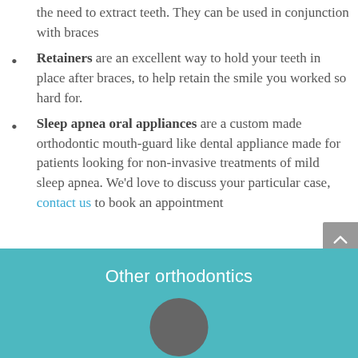the need to extract teeth. They can be used in conjunction with braces
Retainers are an excellent way to hold your teeth in place after braces, to help retain the smile you worked so hard for.
Sleep apnea oral appliances are a custom made orthodontic mouth-guard like dental appliance made for patients looking for non-invasive treatments of mild sleep apnea. We’d love to discuss your particular case, contact us to book an appointment
[Figure (other): Teal/turquoise banner section with white text 'Other orthodontics' and a dark grey circular icon at the bottom]